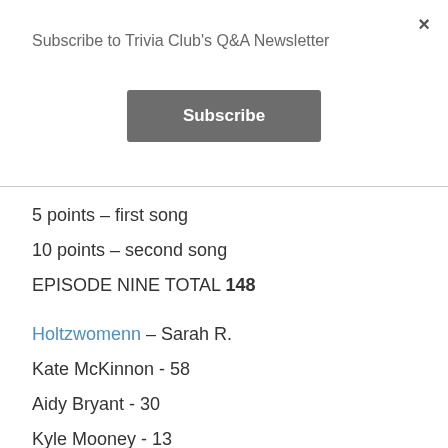×
Subscribe to Trivia Club's Q&A Newsletter
Subscribe
5 points – first song
10 points – second song
EPISODE NINE TOTAL 148
Holtzwomenn – Sarah R.
Kate McKinnon - 58
Aidy Bryant - 30
Kyle Mooney - 13
MUSICAL GUEST – Maren Morris - SONGS: 1) My Church & 2) 80's Mercedes
5 points – first song